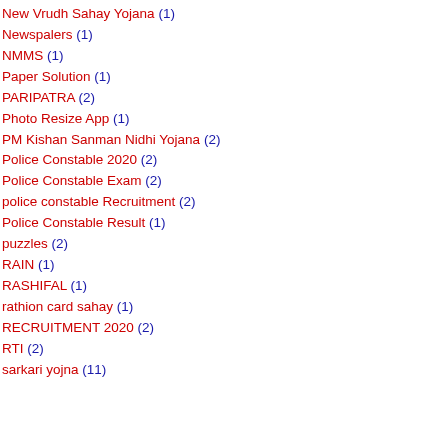New Vrudh Sahay Yojana (1)
Newspalers (1)
NMMS (1)
Paper Solution (1)
PARIPATRA (2)
Photo Resize App (1)
PM Kishan Sanman Nidhi Yojana (2)
Police Constable 2020 (2)
Police Constable Exam (2)
police constable Recruitment (2)
Police Constable Result (1)
puzzles (2)
RAIN (1)
RASHIFAL (1)
rathion card sahay (1)
RECRUITMENT 2020 (2)
RTI (2)
sarkari yojna (11)